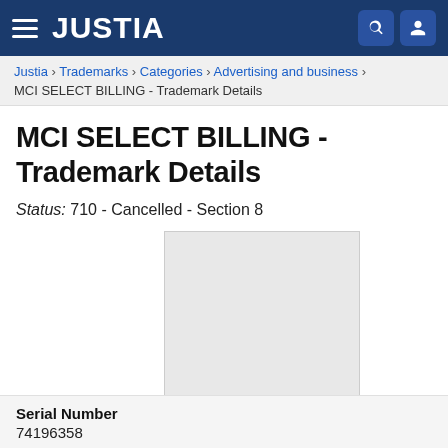JUSTIA
Justia › Trademarks › Categories › Advertising and business › MCI SELECT BILLING - Trademark Details
MCI SELECT BILLING - Trademark Details
Status: 710 - Cancelled - Section 8
[Figure (other): Empty light gray image placeholder box]
Serial Number
74196358